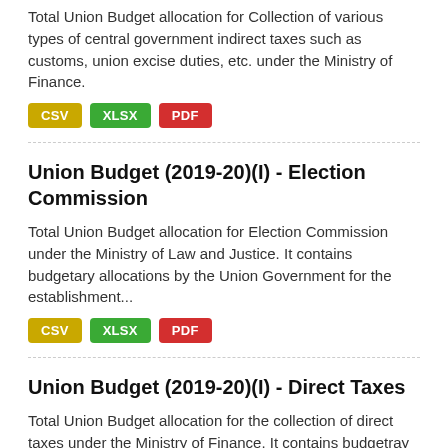Total Union Budget allocation for Collection of various types of central government indirect taxes such as customs, union excise duties, etc. under the Ministry of Finance.
CSV  XLSX  PDF
Union Budget (2019-20)(I) - Election Commission
Total Union Budget allocation for Election Commission under the Ministry of Law and Justice. It contains budgetary allocations by the Union Government for the establishment...
CSV  XLSX  PDF
Union Budget (2019-20)(I) - Direct Taxes
Total Union Budget allocation for the collection of direct taxes under the Ministry of Finance. It contains budgetray allocations by the Union Government for requirement of...
CSV  XLSX  PDF